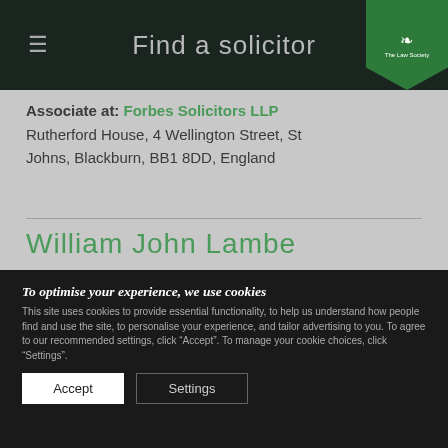Find a solicitor
Associate at: Forbes Solicitors LLP
Rutherford House, 4 Wellington Street, St Johns, Blackburn, BB1 8DD, England
William John Lambe
Solicitor
Associate at: Forbes Solicitors LLP
Rutherford House, 4 Wellington Street, St Johns, Blackburn, BB1 8DD, England
To optimise your experience, we use cookies
This site uses cookies to provide essential functionality, to help us understand how people find and use the site, to personalise your experience, and tailor advertising to you. To agree to our recommended settings, click “Accept”. To manage your cookie choices, click “Settings”.